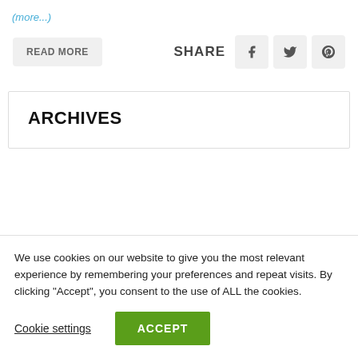(more...)
READ MORE
SHARE
ARCHIVES
We use cookies on our website to give you the most relevant experience by remembering your preferences and repeat visits. By clicking "Accept", you consent to the use of ALL the cookies.
Cookie settings
ACCEPT